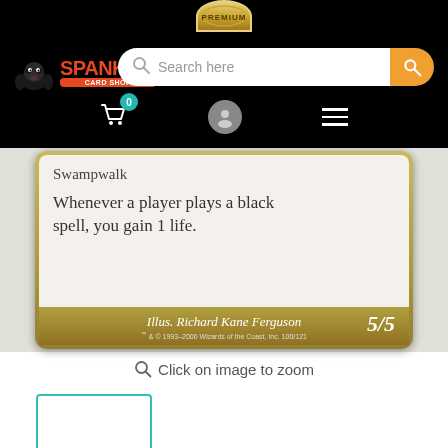[Figure (screenshot): Spanky's Card Shop website header with logo, search bar, and navigation icons on black background]
[Figure (photo): Magic: The Gathering card showing text 'Swampwalk' and 'Whenever a player plays a black spell, you gain 1 life.' Illustrated by Richard Kane Ferguson, 5/5 power/toughness, 100/121 card number, copyright 1993-2006 Wizards of the Coast Inc.]
Click on image to zoom
[Figure (photo): Small thumbnail preview of the same Magic card, outlined in teal]